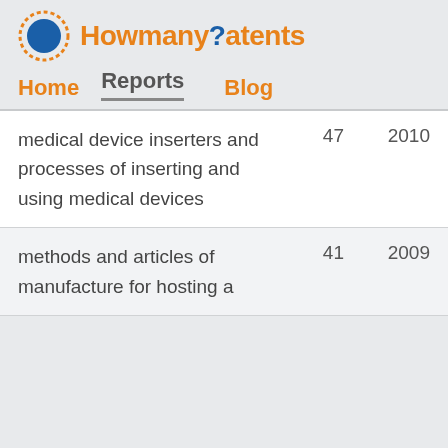Howmany?atents
Home  Reports  Blog
| Topic | Count | Year |
| --- | --- | --- |
| medical device inserters and processes of inserting and using medical devices | 47 | 2010 |
| methods and articles of manufacture for hosting a | 41 | 2009 |